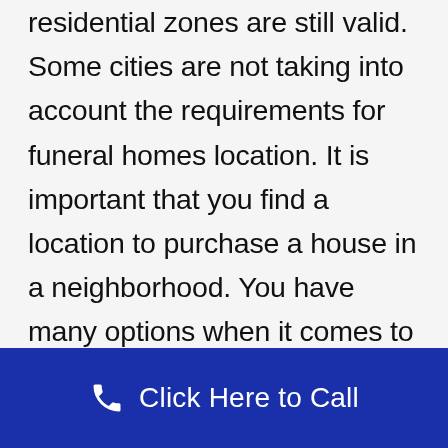residential zones are still valid. Some cities are not taking into account the requirements for funeral homes location. It is important that you find a location to purchase a house in a neighborhood. You have many options when it comes to choosing a funeral home. The Yellow Pages has an Undertakers Section. The directory lists a number of different funeral homes and their offerings. Some listings include memorial products and/or services. This includes guest register books and acknowledgment cards.
Click Here to Call